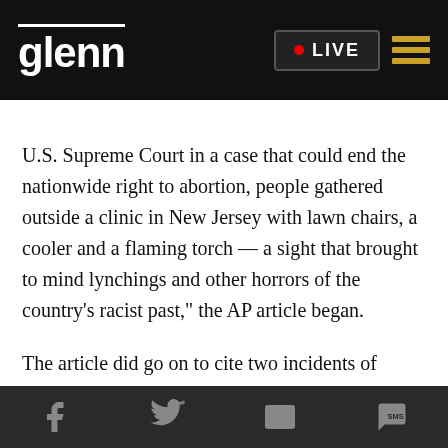glenn | LIVE
U.S. Supreme Court in a case that could end the nationwide right to abortion, people gathered outside a clinic in New Jersey with lawn chairs, a cooler and a flaming torch — a sight that brought to mind lynchings and other horrors of the country's racist past," the AP article began.
The article did go on to cite two incidents of extreme anti-abortion violence — "the 1993 killing of Dr. David Gunn outside a Florida abortion clinic [and] the 2015 fatal shooting of three people inside a Colorado Planned Parenthood." But there was
Facebook | Twitter | Email | SMS